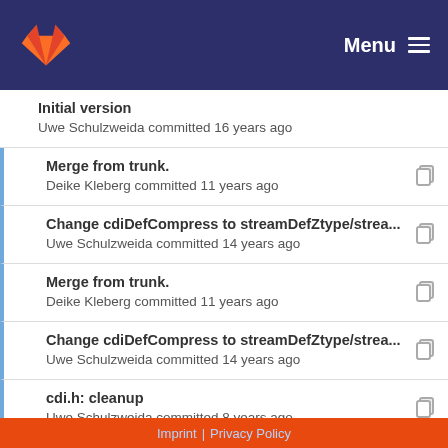Menu
Initial version
Uwe Schulzweida committed 16 years ago
Merge from trunk.
Deike Kleberg committed 11 years ago
Change cdiDefCompress to streamDefZtype/strea...
Uwe Schulzweida committed 14 years ago
Merge from trunk.
Deike Kleberg committed 11 years ago
Change cdiDefCompress to streamDefZtype/strea...
Uwe Schulzweida committed 14 years ago
cdi.h: cleanup
Uwe Schulzweida committed 8 years ago
Merge from trunk.
Imprint | Privacy Policy